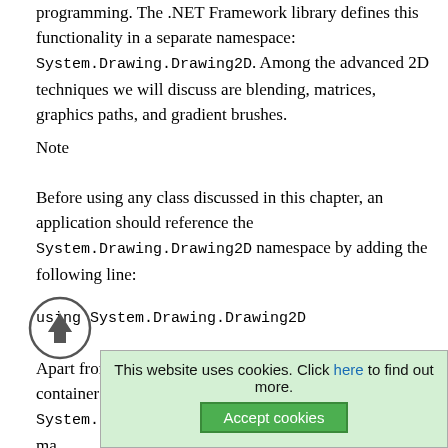programming. The .NET Framework library defines this functionality in a separate namespace: System.Drawing.Drawing2D. Among the advanced 2D techniques we will discuss are blending, matrices, graphics paths, and gradient brushes.
Note
Before using any class discussed in this chapter, an application should reference the System.Drawing.Drawing2D namespace by adding the following line:
Apart from blending, gradient brushes, graphics containers, graphics paths, and matrix-related classes, the System.Drawing.Drawing2D namespace provides ma... dis...